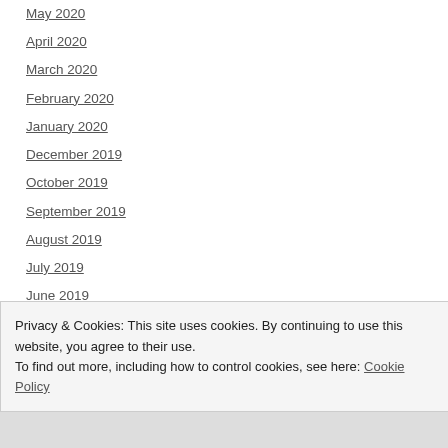May 2020
April 2020
March 2020
February 2020
January 2020
December 2019
October 2019
September 2019
August 2019
July 2019
June 2019
May 2019
April 2019
Privacy & Cookies: This site uses cookies. By continuing to use this website, you agree to their use.
To find out more, including how to control cookies, see here: Cookie Policy
Close and accept